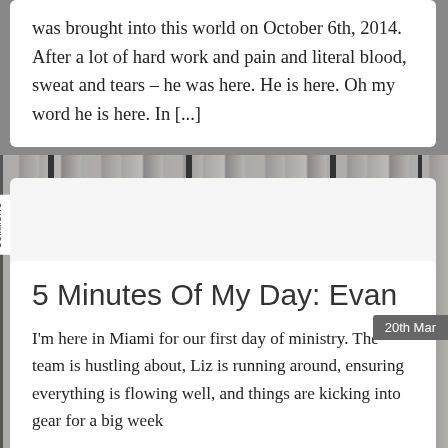was brought into this world on October 6th, 2014. After a lot of hard work and pain and literal blood, sweat and tears – he was here. He is here. Oh my word he is here. In [...]
1 Comment
20th Mar
5 Minutes Of My Day: Evan
I'm here in Miami for our first day of ministry. The team is hustling about, Liz is running around, ensuring everything is flowing well, and things are kicking into gear for a big week